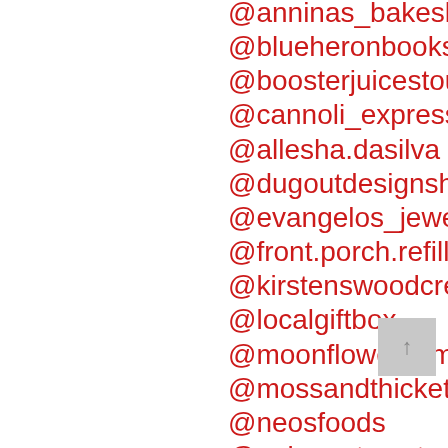@anninas_bakeshopandcare
@blueheronbooks
@boosterjuicestouffville
@cannoli_express
@allesha.dasilva
@dugoutdesignshop
@evangelos_jewellery
@front.porch.refillery
@kirstenswoodcreations
@localgiftbox
@moonflowers_magicaltouch
@mossandthicket
@neosfoods
@palgongtea.stouffville
@theprettybusyroom
@purplelotus_love
@redefined_finds
@thesmokery.ca
@...